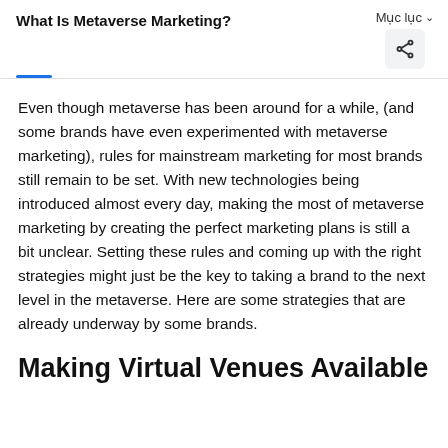What Is Metaverse Marketing?
Even though metaverse has been around for a while, (and some brands have even experimented with metaverse marketing), rules for mainstream marketing for most brands still remain to be set. With new technologies being introduced almost every day, making the most of metaverse marketing by creating the perfect marketing plans is still a bit unclear. Setting these rules and coming up with the right strategies might just be the key to taking a brand to the next level in the metaverse. Here are some strategies that are already underway by some brands.
Making Virtual Venues Available